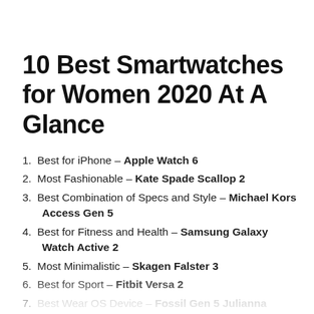10 Best Smartwatches for Women 2020 At A Glance
Best for iPhone – Apple Watch 6
Most Fashionable – Kate Spade Scallop 2
Best Combination of Specs and Style – Michael Kors Access Gen 5
Best for Fitness and Health – Samsung Galaxy Watch Active 2
Most Minimalistic – Skagen Falster 3
Best for Sport – Fitbit Versa 2
Best Wear OS Device – Fossil Gen 5 Julianna
Best All-Rounder – Fossil Women's Gen 4